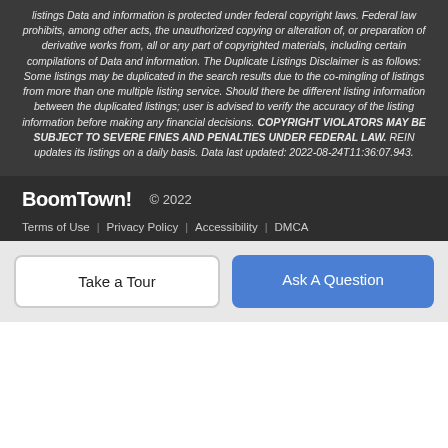listings Data and information is protected under federal copyright laws. Federal law prohibits, among other acts, the unauthorized copying or alteration of, or preparation of derivative works from, all or any part of copyrighted materials, including certain compilations of Data and information. The Duplicate Listings Disclaimer is as follows: Some listings may be duplicated in the search results due to the co-mingling of listings from more than one multiple listing service. Should there be different listing information between the duplicated listings; user is advised to verify the accuracy of the listing information before making any financial decisions. COPYRIGHT VIOLATORS MAY BE SUBJECT TO SEVERE FINES AND PENALTIES UNDER FEDERAL LAW. REIN updates its listings on a daily basis. Data last updated: 2022-08-24T11:36:07.943.
BoomTown! © 2022
Terms of Use | Privacy Policy | Accessibility | DMCA
Take a Tour | Ask A Question